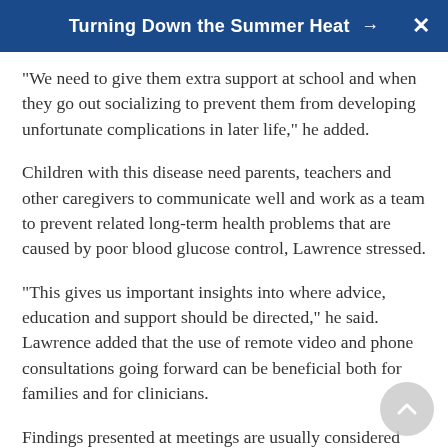Turning Down the Summer Heat →
"We need to give them extra support at school and when they go out socializing to prevent them from developing unfortunate complications in later life," he added.
Children with this disease need parents, teachers and other caregivers to communicate well and work as a team to prevent related long-term health problems that are caused by poor blood glucose control, Lawrence stressed.
"This gives us important insights into where advice, education and support should be directed," he said. Lawrence added that the use of remote video and phone consultations going forward can be beneficial both for families and for clinicians.
Findings presented at meetings are usually considered